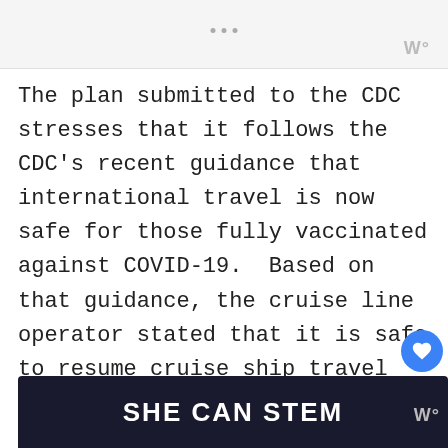... | W°
The plan submitted to the CDC stresses that it follows the CDC's recent guidance that international travel is now safe for those fully vaccinated against COVID-19.  Based on that guidance, the cruise line operator stated that it is safe to resume cruise ship travel and requests a July restart.
[Figure (screenshot): SHE CAN STEM banner advertisement with dark navy background]
W°